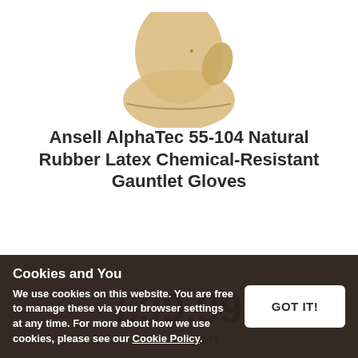[Figure (photo): A beige/tan natural rubber latex gauntlet glove partially visible at the top of the page, showing the cuff/wrist area.]
Ansell AlphaTec 55-104 Natural Rubber Latex Chemical-Resistant Gauntlet Gloves
★★★★★ (5 empty stars rating)
£99.99
(Exc. 20% VAT)
Cookies and You
We use cookies on this website. You are free to manage these via your browser settings at any time. For more about how we use cookies, please see our Cookie Policy.
GOT IT!